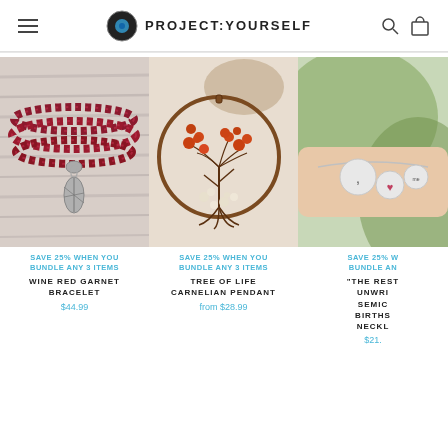PROJECT:YOURSELF
[Figure (photo): Wine Red Garnet Bracelet - red beaded bracelet with leaf charm on striped background]
SAVE 25% WHEN YOU BUNDLE ANY 3 ITEMS
WINE RED GARNET BRACELET
$44.99
[Figure (photo): Tree of Life Carnelian Pendant - circular wire-wrapped pendant with orange and clear stones on stone background]
SAVE 25% WHEN YOU BUNDLE ANY 3 ITEMS
TREE OF LIFE CARNELIAN PENDANT
from $28.99
[Figure (photo): The Rest is Unwritten semicolon birthstone necklace - charm necklace on wrist with green leaf background]
SAVE 25% W BUNDLE AN
"THE REST UNWRI SEMIC BIRTHS NECKL
$21.